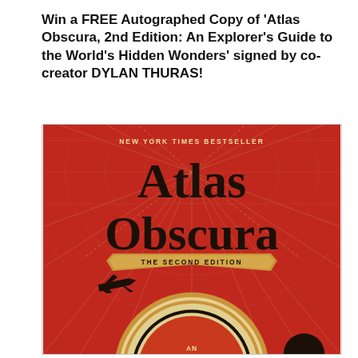Win a FREE Autographed Copy of 'Atlas Obscura, 2nd Edition: An Explorer's Guide to the World's Hidden Wonders' signed by co-creator DYLAN THURAS!
[Figure (photo): Book cover of Atlas Obscura, The Second Edition. Red background with radiating lines and globe map grid. Title 'Atlas Obscura' in large black serif font. Banner reading 'THE SECOND EDITION'. Small black airplane silhouette. Compass rose at bottom with text 'AN EXPLORER'S GUIDE TO THE WORLD'S HIDDEN WONDERS'. Top reads 'NEW YORK TIMES BESTSELLER' in gold caps.]